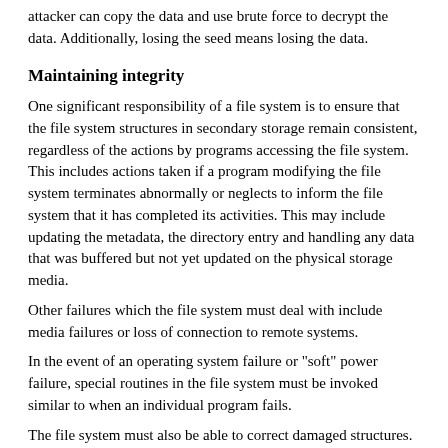attacker can copy the data and use brute force to decrypt the data. Additionally, losing the seed means losing the data.
Maintaining integrity
One significant responsibility of a file system is to ensure that the file system structures in secondary storage remain consistent, regardless of the actions by programs accessing the file system. This includes actions taken if a program modifying the file system terminates abnormally or neglects to inform the file system that it has completed its activities. This may include updating the metadata, the directory entry and handling any data that was buffered but not yet updated on the physical storage media.
Other failures which the file system must deal with include media failures or loss of connection to remote systems.
In the event of an operating system failure or "soft" power failure, special routines in the file system must be invoked similar to when an individual program fails.
The file system must also be able to correct damaged structures. These may occur as a result of an operating system failure for which the OS was unable to notify the file system, a power failure, or a reset.